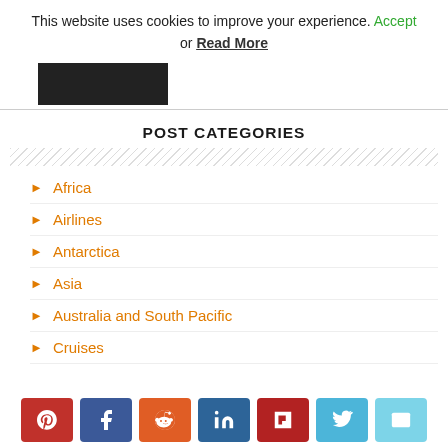This website uses cookies to improve your experience. Accept or Read More
[Figure (photo): Partial image of a dark scene, cropped at top]
POST CATEGORIES
Africa
Airlines
Antarctica
Asia
Australia and South Pacific
Cruises
[Figure (infographic): Social share buttons: Pinterest, Facebook, Reddit, LinkedIn, Flipboard, Twitter, Email]